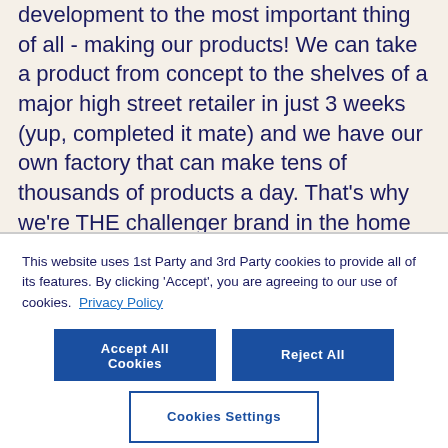development to the most important thing of all - making our products! We can take a product from concept to the shelves of a major high street retailer in just 3 weeks (yup, completed it mate) and we have our own factory that can make tens of thousands of products a day. That's why we're THE challenger brand in the home baking market.
This website uses 1st Party and 3rd Party cookies to provide all of its features. By clicking 'Accept', you are agreeing to our use of cookies. Privacy Policy